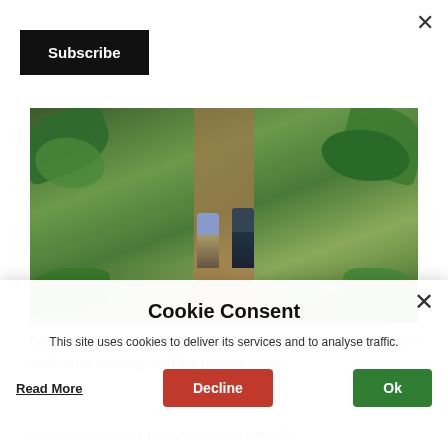×
Subscribe
[Figure (photo): Two men standing on a dirt path through a lush tropical plantation with dense green foliage on both sides.]
Later in the evening of the first day, we went on the plantation walk in the property with the present owner
chirps of birds and it was vice versa there!!!!
Cookie Consent
This site uses cookies to deliver its services and to analyse traffic.
Read More
Decline
Ok